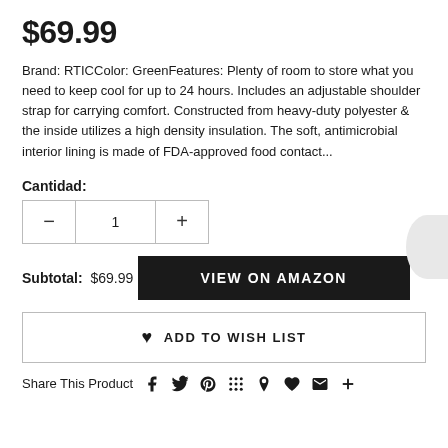$69.99
Brand: RTICColor: GreenFeatures: Plenty of room to store what you need to keep cool for up to 24 hours. Includes an adjustable shoulder strap for carrying comfort. Constructed from heavy-duty polyester & the inside utilizes a high density insulation. The soft, antimicrobial interior lining is made of FDA-approved food contact...
Cantidad:
Subtotal:  $69.99
VIEW ON AMAZON
♥  ADD TO WISH LIST
Share This Product